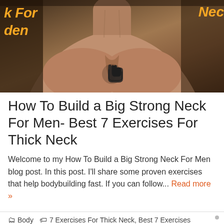[Figure (photo): Close-up photo of a muscular man's neck, shoulders, and upper chest. Overlaid text on the left reads 'k For den' in orange italic bold font, and on the right 'Nec' in orange italic bold font. A hand cursor icon is visible on the chest area.]
How To Build a Big Strong Neck For Men- Best 7 Exercises For Thick Neck
Welcome to my How To Build a Big Strong Neck For Men blog post. In this post. I'll share some proven exercises that help bodybuilding fast. If you can follow... Read more »
Body  7 Exercises For Thick Neck, Best 7 Exercises